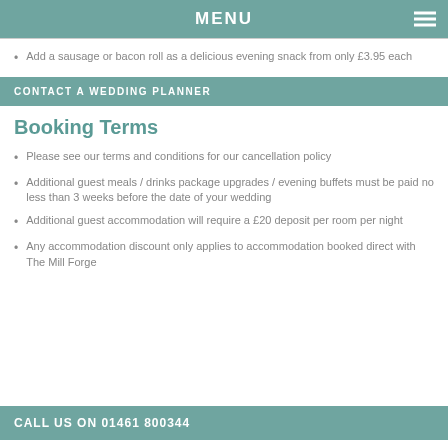MENU
Add a sausage or bacon roll as a delicious evening snack from only £3.95 each
CONTACT A WEDDING PLANNER
Booking Terms
Please see our terms and conditions for our cancellation policy
Additional guest meals / drinks package upgrades / evening buffets must be paid no less than 3 weeks before the date of your wedding
Additional guest accommodation will require a £20 deposit per room per night
Any accommodation discount only applies to accommodation booked direct with The Mill Forge
CALL US ON 01461 800344